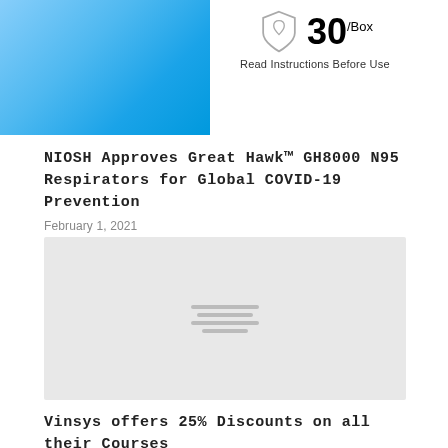[Figure (photo): Blue gradient product image on left side, with shield logo and '30/Box Read Instructions Before Use' text on the right]
NIOSH Approves Great Hawk™ GH8000 N95 Respirators for Global COVID-19 Prevention
February 1, 2021
[Figure (photo): Placeholder image with loading lines indicator on grey background]
Vinsys offers 25% Discounts on all their Courses on the Occasion of Black Friday, a Prominent Opportunity for the Professionals